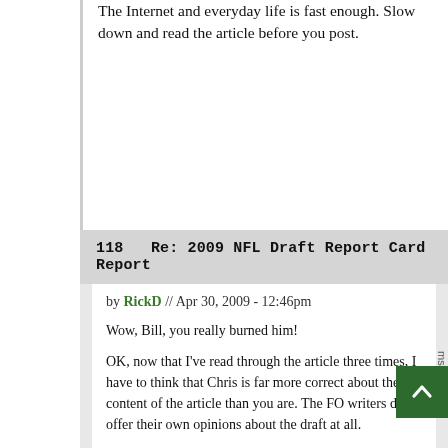The Internet and everyday life is fast enough. Slow down and read the article before you post.
118   Re: 2009 NFL Draft Report Card Report
by RickD // Apr 30, 2009 - 12:46pm
Wow, Bill, you really burned him!
OK, now that I've read through the article three times, I have to think that Chris is far more correct about the content of the article than you are. The FO writers do offer their own opinions about the draft at all.
So... (clears throat)